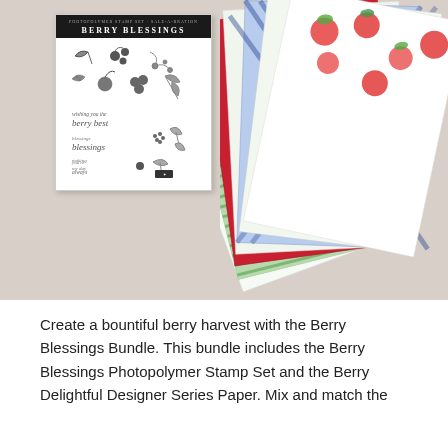[Figure (photo): Product photo showing the Berry Blessings Photopolymer Stamp Set package on the left (black header with 'BERRY BLESSINGS' text, stamps showing berry and botanical illustrations) and fanned-out Berry Delightful Designer Series Paper sheets on the right, featuring various patterns including strawberries, gingham, polka dots, and floral designs in red, green, blue, and white colorways. Background is a warm taupe/beige.]
Create a bountiful berry harvest with the Berry Blessings Bundle. This bundle includes the Berry Blessings Photopolymer Stamp Set and the Berry Delightful Designer Series Paper. Mix and match the